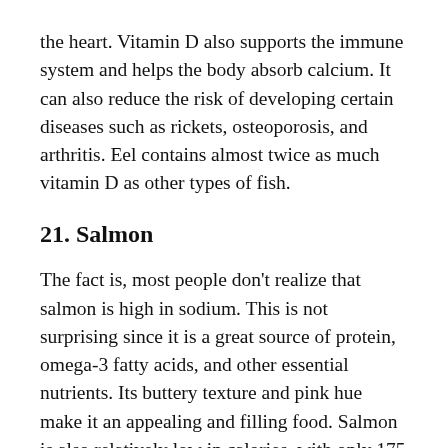the heart. Vitamin D also supports the immune system and helps the body absorb calcium. It can also reduce the risk of developing certain diseases such as rickets, osteoporosis, and arthritis. Eel contains almost twice as much vitamin D as other types of fish.
21. Salmon
The fact is, most people don't realize that salmon is high in sodium. This is not surprising since it is a great source of protein, omega-3 fatty acids, and other essential nutrients. Its buttery texture and pink hue make it an appealing and filling food. Salmon is also relatively low in calories, with only 175 calories per three-ounce serving. While salmon is high in sodium, it is low in calories and contains heart-healthy fats.